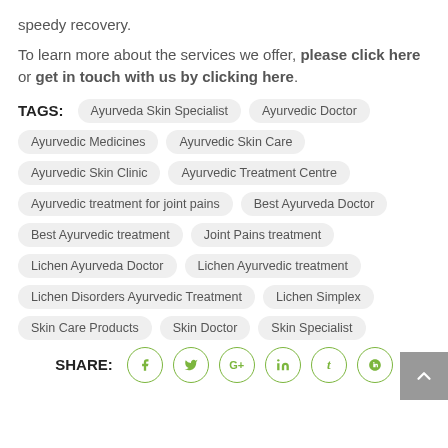speedy recovery.
To learn more about the services we offer, please click here or get in touch with us by clicking here.
TAGS: Ayurveda Skin Specialist | Ayurvedic Doctor | Ayurvedic Medicines | Ayurvedic Skin Care | Ayurvedic Skin Clinic | Ayurvedic Treatment Centre | Ayurvedic treatment for joint pains | Best Ayurveda Doctor | Best Ayurvedic treatment | Joint Pains treatment | Lichen Ayurveda Doctor | Lichen Ayurvedic treatment | Lichen Disorders Ayurvedic Treatment | Lichen Simplex | Skin Care Products | Skin Doctor | Skin Specialist
SHARE: